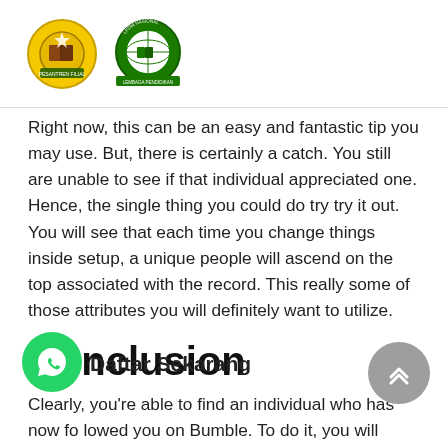[Figure (logo): Two institutional logos: a yellow circular emblem with Arabic text and a book/star design (left), and a green circular globe emblem with text (right)]
Right now, this can be an easy and fantastic tip you may use. But, there is certainly a catch. You still are unable to see if that individual appreciated one. Hence, the single thing you could do try try it out. You will see that each time you change things inside setup, a unique people will ascend on the top associated with the record. This really some of those attributes you will definitely want to utilize.
Conclusion
Clearly, you’re able to find an individual who has now followed you on Bumble. To do it, you will need to test the basic trick. When you finally attain the hang of this chemical, you may do it all the full time. Tell us
[Figure (logo): WhatsApp floating button (green circle with phone icon)]
Daftar Sekarang
[Figure (other): Scroll-to-top button (grey circle with up chevrons)]